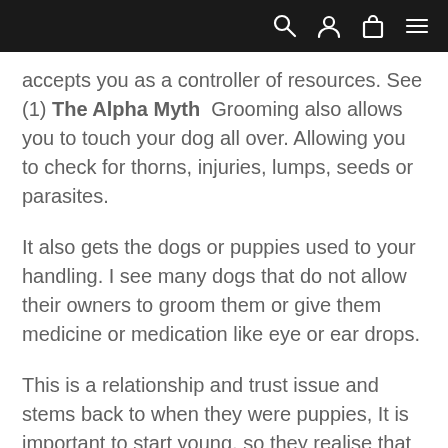[navigation bar with search, user, cart, and menu icons]
accepts you as a controller of resources. See (1) The Alpha Myth  Grooming also allows you to touch your dog all over. Allowing you to check for thorns, injuries, lumps, seeds or parasites.
It also gets the dogs or puppies used to your handling. I see many dogs that do not allow their owners to groom them or give them medicine or medication like eye or ear drops.
This is a relationship and trust issue and stems back to when they were puppies, It is important to start young, so they realise that grooming can be fun as well as therapeutic.